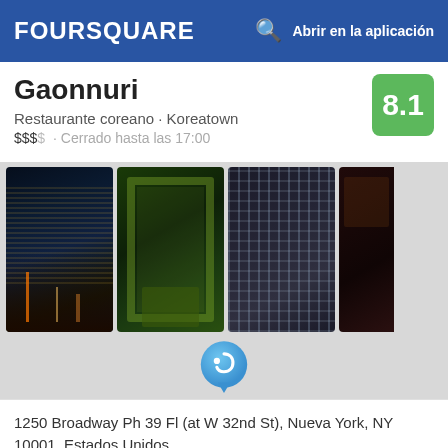FOURSQUARE  Abrir en la aplicación
Gaonnuri
Restaurante coreano · Koreatown
$$$ · Cerrado hasta las 17:00
8.1
[Figure (photo): Four restaurant photos: NYC skyline at night, restaurant exterior with green lighting, wine rack wall, dark interior]
1250 Broadway Ph 39 Fl (at W 32nd St), Nueva York, NY 10001, Estados Unidos
Direcciones
Ver menú